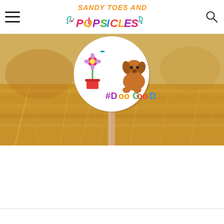SANDY TOES AND POPSICLES — site header with hamburger menu and search icon
[Figure (photo): A circular sign on a wooden stick stuck in yellow straw/hay, showing a cartoon dog with a flower pot and the hashtag #DooGood in purple colorful letters. Background is blurred outdoor scene with warm golden tones.]